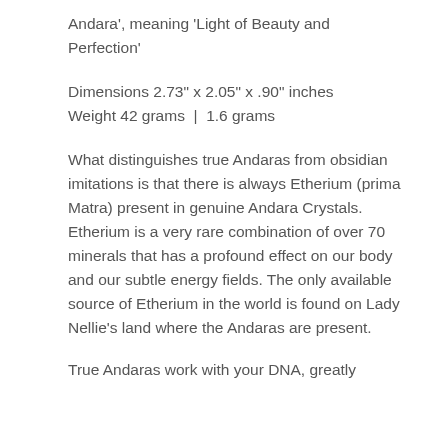Andara', meaning 'Light of Beauty and Perfection'
Dimensions 2.73" x 2.05" x .90" inches Weight 42 grams | 1.6 grams
What distinguishes true Andaras from obsidian imitations is that there is always Etherium (prima Matra) present in genuine Andara Crystals. Etherium is a very rare combination of over 70 minerals that has a profound effect on our body and our subtle energy fields. The only available source of Etherium in the world is found on Lady Nellie's land where the Andaras are present.
True Andaras work with your DNA, greatly